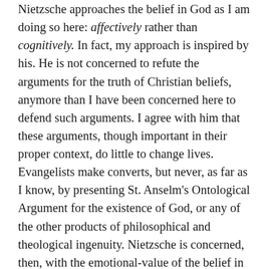Nietzsche approaches the belief in God as I am doing so here: affectively rather than cognitively. In fact, my approach is inspired by his. He is not concerned to refute the arguments for the truth of Christian beliefs, anymore than I have been concerned here to defend such arguments. I agree with him that these arguments, though important in their proper context, do little to change lives. Evangelists make converts, but never, as far as I know, by presenting St. Anselm's Ontological Argument for the existence of God, or any of the other products of philosophical and theological ingenuity. Nietzsche is concerned, then, with the emotional-value of the belief in God. He argues that this belief is resentful—as much a product of resentment, as it promotes more of the same—despite its pretenses to be loving. To make sense of this argument, I should say a few words about the emotion of resentment.